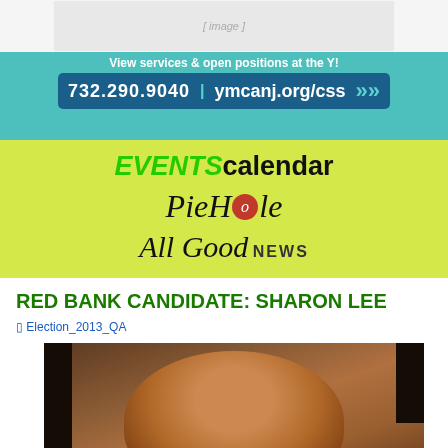[Figure (photo): YMCA advertisement banner with teal background showing 'View services & open positions at the Y!' with phone number 732.290.9040 and website ymcanj.org/css]
[Figure (logo): Yellow-green section with 'EVENTS calendar' header in green/black, 'PieHole' logo in script, and 'All Good NEWS' logo]
RED BANK CANDIDATE: SHARON LEE
[Figure (photo): Broken image placeholder labeled Election_2013_QA]
[Figure (photo): Portrait photo of Sharon Lee candidate]